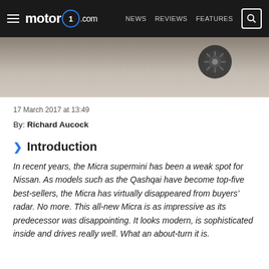motor1.com — NEWS   REVIEWS   FEATURES
[Figure (photo): Partial view of a car wheel/tire on a road surface, hero image strip at top of article]
17 March 2017 at 13:49
By: Richard Aucock
Introduction
In recent years, the Micra supermini has been a weak spot for Nissan. As models such as the Qashqai have become top-five best-sellers, the Micra has virtually disappeared from buyers' radar. No more. This all-new Micra is as impressive as its predecessor was disappointing. It looks modern, is sophisticated inside and drives really well. What an about-turn it is.